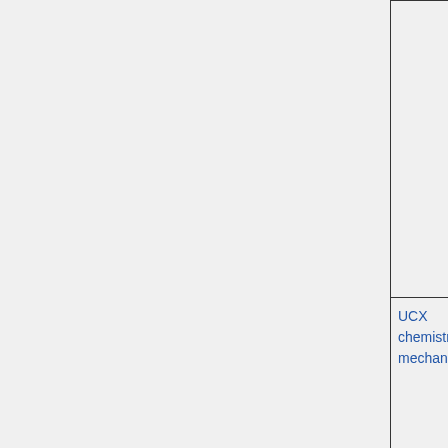| Feature/Component | Type | Description |
| --- | --- | --- |
|  |  | causing the ... of ClNO2 to ... passed to th... twice. The n... FJX_j2j.d... corrects this... |
| UCX chemistry mechanism | DEFAULT | A new file (Montreal_... was created ... inconsistenc... H2402 concentratio... between GO... GEOS-Che... "Classic". |
| CEDS | OPTIONAL | CEDS anthr... emissions fo... 1949. Data n... encompasse... entire CEDS... |